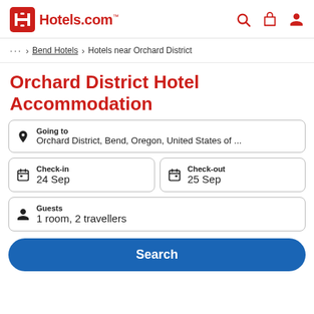Hotels.com
... > Bend Hotels > Hotels near Orchard District
Orchard District Hotel Accommodation
Going to
Orchard District, Bend, Oregon, United States of ...
Check-in
24 Sep
Check-out
25 Sep
Guests
1 room, 2 travellers
Search